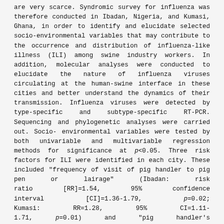are very scarce. Syndromic survey for influenza was therefore conducted in Ibadan, Nigeria, and Kumasi, Ghana, in order to identify and elucidate selected socio-environmental variables that may contribute to the occurrence and distribution of influenza-like illness (ILI) among swine industry workers. In addition, molecular analyses were conducted to elucidate the nature of influenza viruses circulating at the human-swine interface in these cities and better understand the dynamics of their transmission. Influenza viruses were detected by type-specific and subtype-specific RT-PCR. Sequencing and phylogenetic analyses were carried out. Socio-environmental variables were tested by both univariable and multivariable regression methods for significance at p<0.05. Three risk factors for ILI were identified in each city. These included "frequency of visit of pig handler to pig pen or lairage" (Ibadan: risk ratio [RR]=1.54, 95% confidence interval [CI]=1.36-1.79, p=0.02; Kumasi: RR=1.28, 95% CI=1.11-1.71, p=0.01) and "pig handler's awareness about biosecurity measures" (Ibadan: RR=7.09, 95% CI=2.36-21.32, p<0.001; Kumasi: RR=4.84, 95% CI=1.98-11.80, p<0.001). Influenza A(H1N1) pdm09 viruses, with M genes closely related to those which circulated among pigs in the two cities during the same period, were detected among Nigerian and Ghanaian pig industry workers. These findings suggest the possibility of bidirectional transmission of influenza at the human-swine interface in these cities and underscore the need for more extensive molecular studies. Risk factors identified may assist in the control of human-to-human and human-to-swine transmission of influenza in the West...